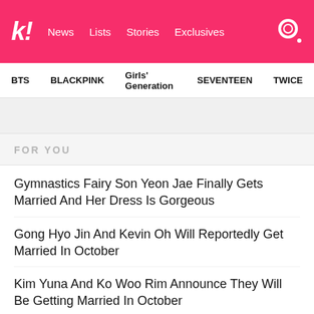k! News Lists Stories Exclusives
BTS  BLACKPINK  Girls' Generation  SEVENTEEN  TWICE
FOR YOU
Gymnastics Fairy Son Yeon Jae Finally Gets Married And Her Dress Is Gorgeous
Gong Hyo Jin And Kevin Oh Will Reportedly Get Married In October
Kim Yuna And Ko Woo Rim Announce They Will Be Getting Married In October
NCT's Chenle Shuts Down Accusations Of Lip-Syncing In The Classiest Way
Netizens Think Girls' Generation's Yoona Is In Her Legendary Visual Phase After Gaining Weight